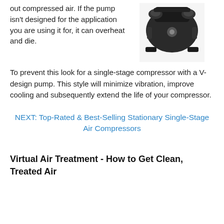out compressed air. If the pump isn't designed for the application you are using it for, it can overheat and die.
[Figure (photo): Photo of a V-design pump / compressor pump head, dark metallic, viewed from above]
To prevent this look for a single-stage compressor with a V-design pump. This style will minimize vibration, improve cooling and subsequently extend the life of your compressor.
NEXT: Top-Rated & Best-Selling Stationary Single-Stage Air Compressors
Virtual Air Treatment - How to Get Clean, Treated Air